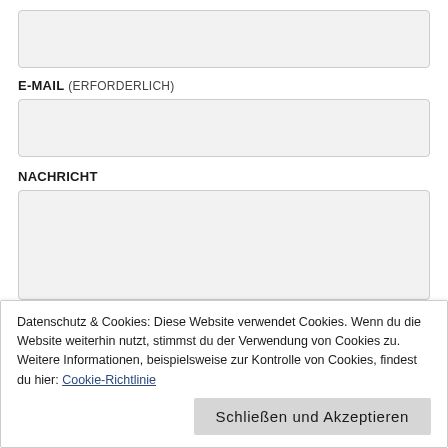[Figure (screenshot): Empty text input field with light grey background and border]
E-MAIL (ERFORDERLICH)
[Figure (screenshot): Empty email input field with light grey background and border]
NACHRICHT
[Figure (screenshot): Empty textarea message field with light grey background and border]
Datenschutz & Cookies: Diese Website verwendet Cookies. Wenn du die Website weiterhin nutzt, stimmst du der Verwendung von Cookies zu.
Weitere Informationen, beispielsweise zur Kontrolle von Cookies, findest du hier: Cookie-Richtlinie
Schließen und Akzeptieren